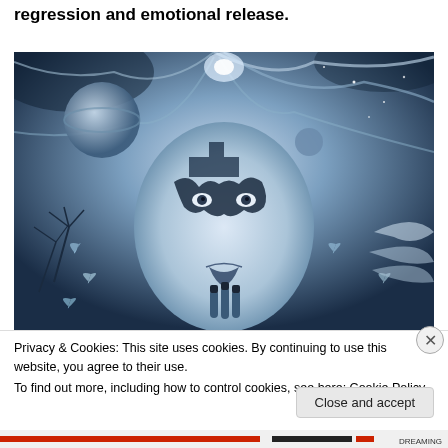regression and emotional release.
[Figure (illustration): Surreal blue-toned digital artwork depicting a woman's face merging with cosmic and natural elements — swirling hair, planets, clouds, butterflies, and palm trees in a dreamlike composition.]
Privacy & Cookies: This site uses cookies. By continuing to use this website, you agree to their use.
To find out more, including how to control cookies, see here: Cookie Policy
Close and accept